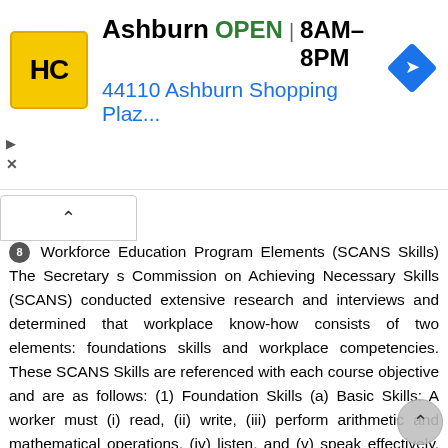[Figure (screenshot): Advertisement banner for HC (Hardware/Home store) in Ashburn, showing OPEN 8AM-8PM, address 44110 Ashburn Shopping Plaz..., with yellow logo and blue navigation arrow icon]
8 Workforce Education Program Elements (SCANS Skills) The Secretary s Commission on Achieving Necessary Skills (SCANS) conducted extensive research and interviews and determined that workplace know-how consists of two elements: foundations skills and workplace competencies. These SCANS Skills are referenced with each course objective and are as follows: (1) Foundation Skills (a) Basic Skills: A worker must (i) read, (ii) write, (iii) perform arithmetic and mathematical operations, (iv) listen, and (v) speak effectively. (b) Thinking Skills: A worker must (i) think creatively, (ii) make decisions, (iii) solve problems, (iv) visualize, (v) know how to learn, and (vi) reason effectively. (c) Personal Qualities: A worker must display (i) responsibility, (ii) self-esteem, (iii) sociability, (iv) self-management, (v) integrity, and (vi) honesty. (2) Workplace Competencies (a) Resources: A worker must identify, organize, plan, and allocate resources effectively. This